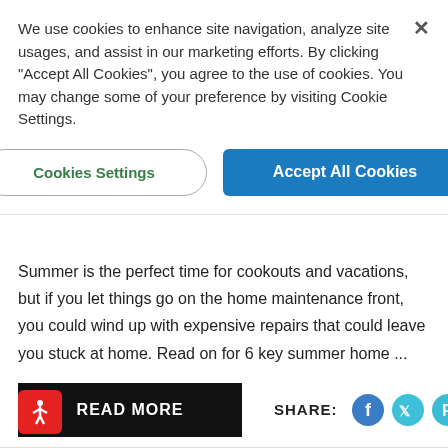We use cookies to enhance site navigation, analyze site usages, and assist in our marketing efforts. By clicking “Accept All Cookies”, you agree to the use of cookies. You may change some of your preference by visiting Cookie Settings.
Cookies Settings
Accept All Cookies
Summer is the perfect time for cookouts and vacations, but if you let things go on the home maintenance front, you could wind up with expensive repairs that could leave you stuck at home. Read on for 6 key summer home ...
READ MORE
SHARE: